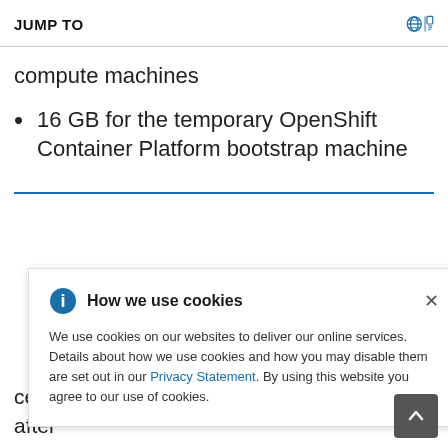JUMP TO
compute machines
16 GB for the temporary OpenShift Container Platform bootstrap machine
How we use cookies — We use cookies on our websites to deliver our online services. Details about how we use cookies and how you may disable them are set out in our Privacy Statement. By using this website you agree to our use of cookies.
certificate signing requests (CSRs) after